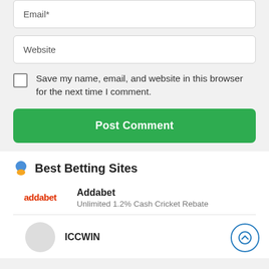Email*
Website
Save my name, email, and website in this browser for the next time I comment.
Post Comment
Best Betting Sites
Addabet
Unlimited 1.2% Cash Cricket Rebate
ICCWIN